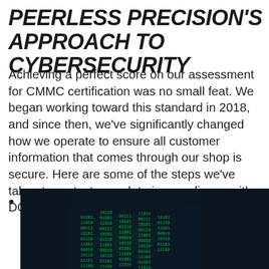PEERLESS PRECISION'S APPROACH TO CYBERSECURITY
Achieving a perfect score on our assessment for CMMC certification was no small feat. We began working toward this standard in 2018, and since then, we've significantly changed how we operate to ensure all customer information that comes through our shop is secure. Here are some of the steps we've taken to protect your data in compliance with DOD regulations:
[Figure (photo): Dark background image showing a glowing green matrix/code display on what appears to be a laptop or screen, suggesting cybersecurity/hacking theme]